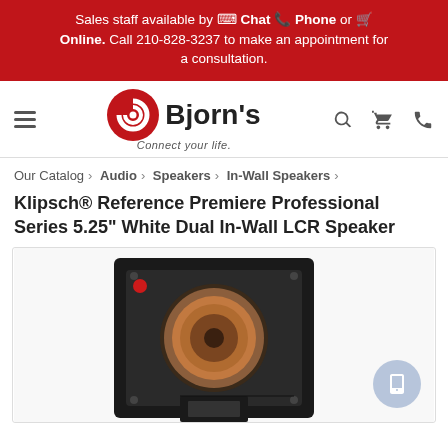Sales staff available by Chat Phone or Online. Call 210-828-3237 to make an appointment for a consultation.
[Figure (logo): Bjorn's Audio Video logo with red swirl icon and tagline 'Connect your life.']
Our Catalog > Audio > Speakers > In-Wall Speakers >
Klipsch® Reference Premiere Professional Series 5.25" White Dual In-Wall LCR Speaker
[Figure (photo): Klipsch in-wall speaker with black rectangular frame, copper woofer cone, red accent, and square tweeter, shown against white background]